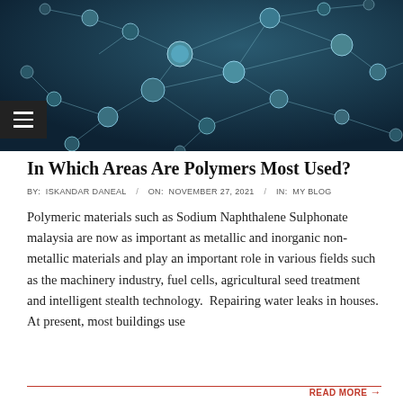[Figure (photo): Close-up of a network of spherical nodes connected by lines, representing polymer or molecular network structure, dark blue-teal background]
In Which Areas Are Polymers Most Used?
BY:  ISKANDAR DANEAL   /   ON:  NOVEMBER 27, 2021   /   IN:  MY BLOG
Polymeric materials such as Sodium Naphthalene Sulphonate malaysia are now as important as metallic and inorganic non-metallic materials and play an important role in various fields such as the machinery industry, fuel cells, agricultural seed treatment and intelligent stealth technology.  Repairing water leaks in houses. At present, most buildings use
READ MORE →